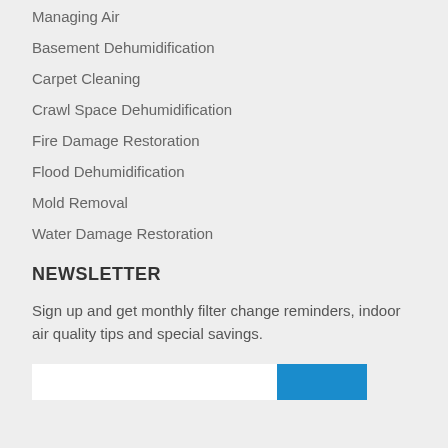Managing Air
Basement Dehumidification
Carpet Cleaning
Crawl Space Dehumidification
Fire Damage Restoration
Flood Dehumidification
Mold Removal
Water Damage Restoration
NEWSLETTER
Sign up and get monthly filter change reminders, indoor air quality tips and special savings.